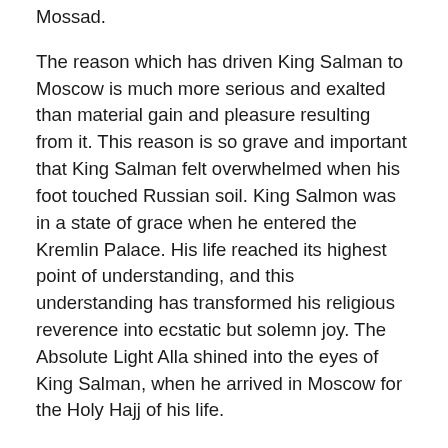Mossad.
The reason which has driven King Salman to Moscow is much more serious and exalted than material gain and pleasure resulting from it. This reason is so grave and important that King Salman felt overwhelmed when his foot touched Russian soil. King Salmon was in a state of grace when he entered the Kremlin Palace. His life reached its highest point of understanding, and this understanding has transformed his religious reverence into ecstatic but solemn joy. The Absolute Light Alla shined into the eyes of King Salman, when he arrived in Moscow for the Holy Hajj of his life.
And the reason that brought King Salman to Russia is that Prophet Mohammed was Russian, and Moscow is a true Makkah.